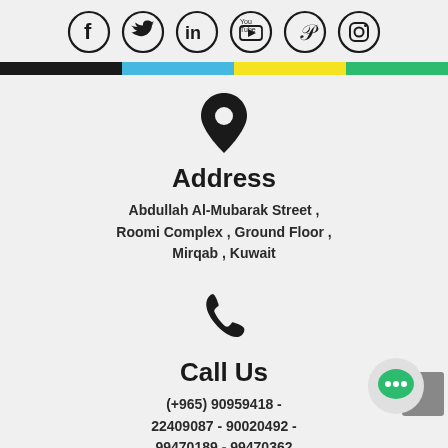[Figure (illustration): Row of 6 social media icons in circles: Facebook, Twitter, LinkedIn, YouTube, Pinterest, Instagram]
[Figure (illustration): Colored horizontal strip with black, blue, yellow, green segments]
[Figure (illustration): Location pin / map marker icon]
Address
Abdullah Al-Mubarak Street , Roomi Complex , Ground Floor , Mirqab , Kuwait
[Figure (illustration): Phone handset icon]
Call Us
(+965) 90959418 - 22409087 - 90020492 - 99470189 - 99470362